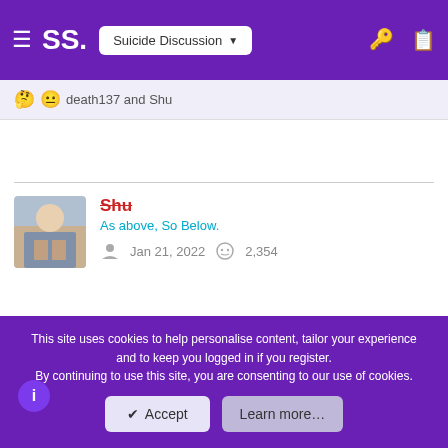SS. Suicide Discussion
death137 and Shu
Shu
As above, So Below.
Jan 21, 2022    2,354
Jun 10, 2022    #3,447
NoLifeNoPain said:
This site uses cookies to help personalise content, tailor your experience and to keep you logged in if you register.
By continuing to use this site, you are consenting to our use of cookies.
✔ Accept    Learn more…